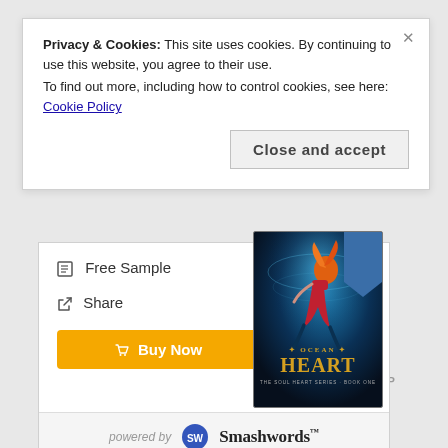Privacy & Cookies: This site uses cookies. By continuing to use this website, you agree to their use.
To find out more, including how to control cookies, see here: Cookie Policy
Close and accept
Free Sample
Share
Buy Now
[Figure (illustration): Book cover for Ocean Heart - The Soul Heart Series Book One, showing a figure swimming underwater with orange hair and red outfit, against a dark blue oceanic background with glowing effects. A blue ribbon/badge appears in the top right corner.]
powered by Smashwords
FIND OCEAN HEART AT YOUR LOCAL BOOKSHOP
[Figure (photo): Partial book cover showing 'ALLY ALDRIDGE' text on a dark blue background, cropped at bottom of page.]